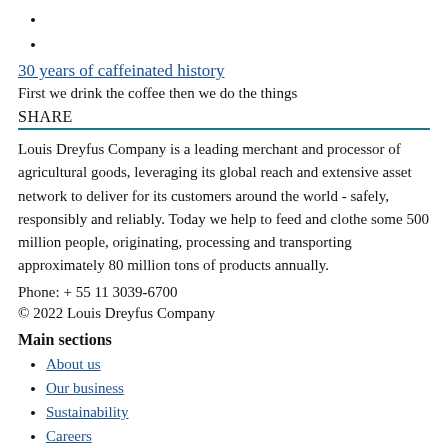30 years of caffeinated history
First we drink the coffee then we do the things
SHARE
Louis Dreyfus Company is a leading merchant and processor of agricultural goods, leveraging its global reach and extensive asset network to deliver for its customers around the world - safely, responsibly and reliably. Today we help to feed and clothe some 500 million people, originating, processing and transporting approximately 80 million tons of products annually.
Phone: + 55 11 3039-6700
© 2022 Louis Dreyfus Company
Main sections
About us
Our business
Sustainability
Careers